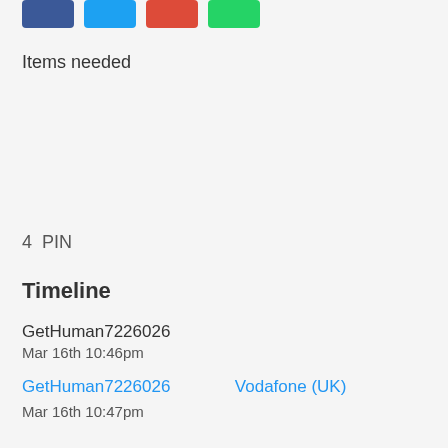[Figure (other): Social sharing buttons: Facebook (blue), Twitter (cyan), Google/YouTube (red), WhatsApp (green)]
Items needed
4  PIN
Timeline
GetHuman7226026
Mar 16th 10:46pm
GetHuman7226026    Vodafone (UK)
Mar 16th 10:47pm